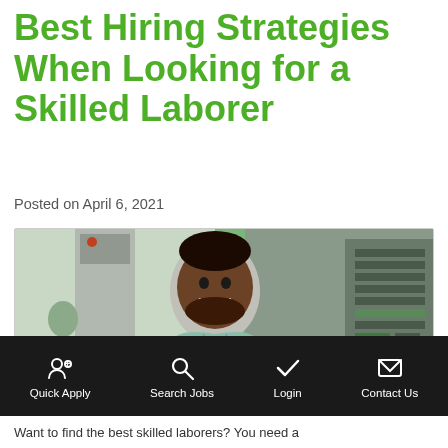Best Hiring Strategies When Looking for a Skilled Laborer
Posted on April 6, 2021
[Figure (photo): A smiling man in a light green polo shirt standing in an industrial/factory setting with machinery and another worker visible in the background. A green and dark blue decorative graphic element overlays the bottom-right corner.]
Quick Apply | Search Jobs | Login | Contact Us
Want to find the best skilled laborers? You need a